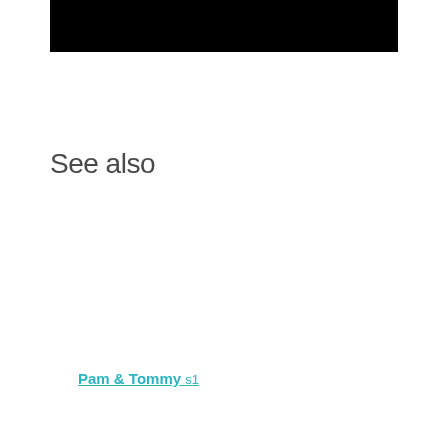[Figure (other): Black rectangular banner/image at the top of the page]
See also
Pam & Tommy s1